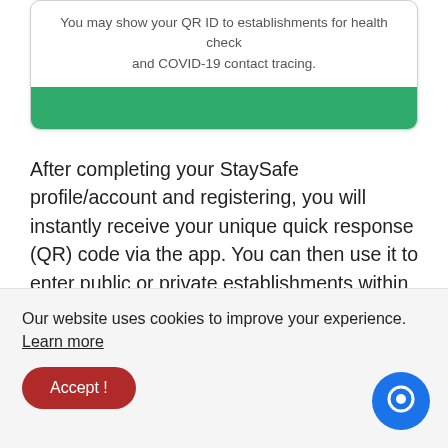[Figure (screenshot): A white card UI element with text 'You may show your QR ID to establishments for health check and COVID-19 contact tracing.' and a green rounded button at the bottom.]
After completing your StaySafe profile/account and registering, you will instantly receive your unique quick response (QR) code via the app. You can then use it to enter public or private establishments within Marikina City's territorial jurisdiction.
Our website uses cookies to improve your experience. Learn more
Accept !